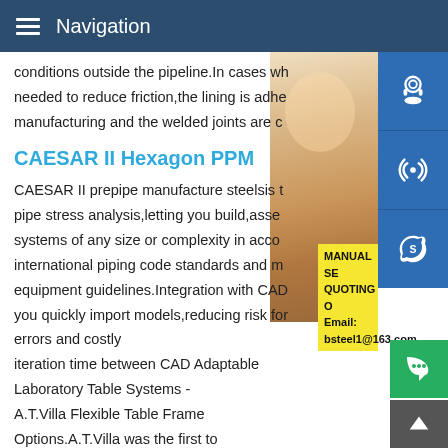Navigation
conditions outside the pipeline.In cases wh needed to reduce friction,the lining is adhe manufacturing and the welded joints are c
CAESAR II Hexagon PPM
CAESAR II prepipe manufacture steelsis t pipe stress analysis,letting you build,asse systems of any size or complexity in acco international piping code standards and m equipment guidelines.Integration with CAD you quickly import models,reducing risk for errors and costly iteration time between CAD Adaptable Laboratory Table Systems - A.T.Villa Flexible Table Frame Options.A.T.Villa was the first to the square tube design,which provides a modern design elem and practicality.The telescoping frame allows the Forte system work surfaces to adjust in 1 height increments.Height adjustab
[Figure (photo): Woman with headset customer service portrait photo on right side]
[Figure (infographic): Sidebar with three blue icon buttons: headset/support, phone, Skype]
MANUAL SE QUOTING O Email: bsteel1@163.com